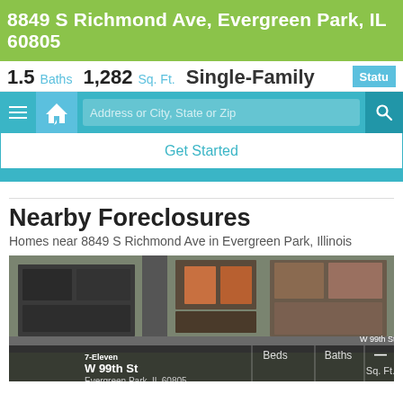8849 S Richmond Ave, Evergreen Park, IL 60805
1.5 Baths   1,282 Sq. Ft.   Single-Family   Statu
Address or City, State or Zip
Get Started
Nearby Foreclosures
Homes near 8849 S Richmond Ave in Evergreen Park, Illinois
[Figure (map): Aerial satellite map showing W 99th St in Evergreen Park, IL 60805 area with overhead view of buildings and streets]
W 99th St
Evergreen Park, IL 60805
Beds | Baths | —
Sq. Ft.